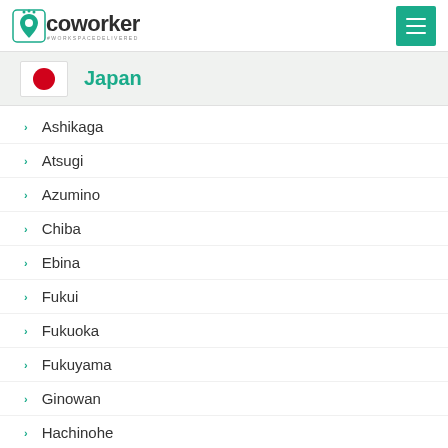coworker #WORKSPACEDELIVERED
Japan
Ashikaga
Atsugi
Azumino
Chiba
Ebina
Fukui
Fukuoka
Fukuyama
Ginowan
Hachinohe
Hamamatsu
Hanamaki